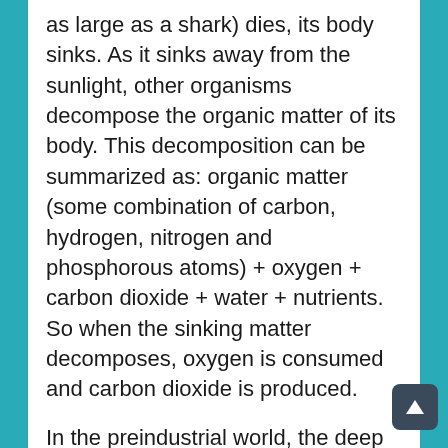as large as a shark) dies, its body sinks. As it sinks away from the sunlight, other organisms decompose the organic matter of its body. This decomposition can be summarized as: organic matter (some combination of carbon, hydrogen, nitrogen and phosphorous atoms) + oxygen + carbon dioxide + water + nutrients. So when the sinking matter decomposes, oxygen is consumed and carbon dioxide is produced.
In the preindustrial world, the deep ocean achieved a natural balance of oxygenated water coming in and oxygen-depleted water going out thanks to its undisturbed ocean